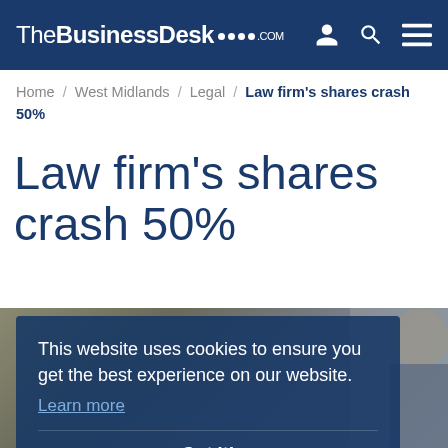TheBusinessDesk.com
Home / West Midlands / Legal / Law firm's shares crash 50%
Law firm's shares crash 50%
[Figure (photo): Background photo of a man in a suit in an office setting, partially visible behind a cookie consent overlay]
This website uses cookies to ensure you get the best experience on our website. Learn more
Got it!